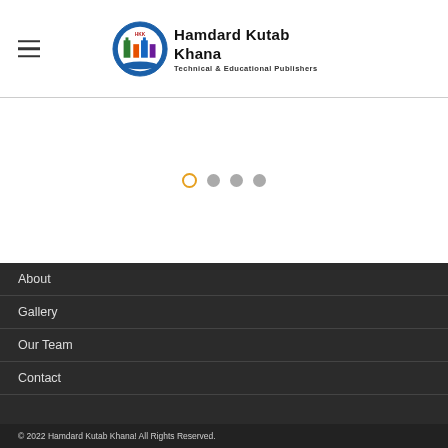[Figure (logo): Hamdard Kutab Khana logo with HKK emblem and text 'Hamdard Kutab Khana Technical & Educational Publishers']
[Figure (other): Slideshow carousel with 4 navigation dots, first dot active (orange outlined circle), others gray filled circles]
About
Gallery
Our Team
Contact
© 2022 Hamdard Kutab Khana! All Rights Reserved.